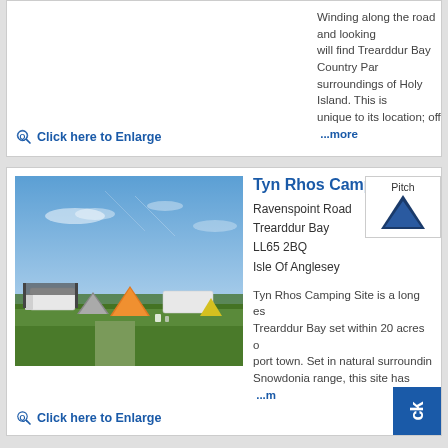Winding along the road and looking will find Trearddur Bay Country Par surroundings of Holy Island. This is unique to its location; off  ...more
Click here to Enlarge
Tyn Rhos Camping Site
Ravenspoint Road
Trearddur Bay
LL65 2BQ
Isle Of Anglesey
Tyn Rhos Camping Site is a long es Trearddur Bay set within 20 acres o port town. Set in natural surroundin Snowdonia range, this site has  ...m
[Figure (photo): Camping site photo showing tents, caravans, and green grass under a blue sky with light clouds]
Click here to Enlarge